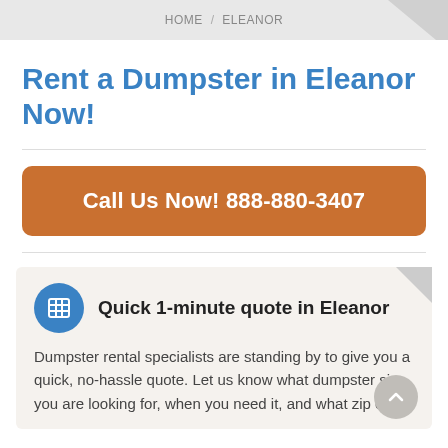HOME / ELEANOR
Rent a Dumpster in Eleanor Now!
Call Us Now! 888-880-3407
Quick 1-minute quote in Eleanor
Dumpster rental specialists are standing by to give you a quick, no-hassle quote. Let us know what dumpster size you are looking for, when you need it, and what zip code